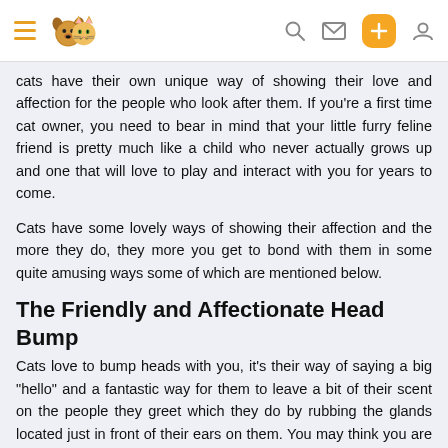Navigation header with hamburger menu, pet logo, search, mail, plus, and user icons
cats have their own unique way of showing their love and affection for the people who look after them. If you're a first time cat owner, you need to bear in mind that your little furry feline friend is pretty much like a child who never actually grows up and one that will love to play and interact with you for years to come.
Cats have some lovely ways of showing their affection and the more they do, they more you get to bond with them in some quite amusing ways some of which are mentioned below.
The Friendly and Affectionate Head Bump
Cats love to bump heads with you, it's their way of saying a big "hello" and a fantastic way for them to leave a bit of their scent on the people they greet which they do by rubbing the glands located just in front of their ears on them. You may think you are the "head honcho" in the home, but in reality your feline friend sees you as part of their clan.